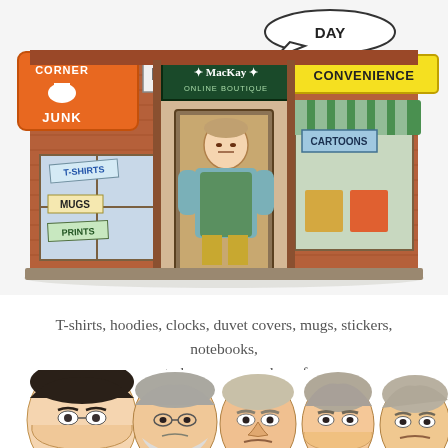[Figure (illustration): Cartoon illustration of a brick building storefront with three shops: 'Corner Junk' store on the left with signs for T-shirts, Mugs, and Prints in the window; 'MacKay Online Boutique' in the center doorway with a portly shopkeeper in a green apron; and 'Day Convenience' shop on the right with a 'Cartoons' sign and green striped awning. A speech bubble says 'DAY'.]
T-shirts, hoodies, clocks, duvet covers, mugs, stickers, notebooks, smart phone cases and scarfs
[Figure (illustration): Cartoon caricature illustration showing a row of male faces/heads from left to right, appearing to be political figures with exaggerated features, various hair styles and facial expressions.]